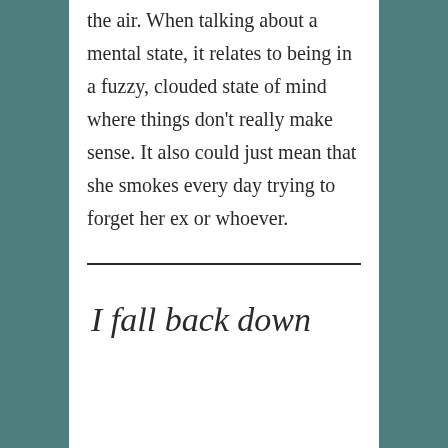the air. When talking about a mental state, it relates to being in a fuzzy, clouded state of mind where things don't really make sense. It also could just mean that she smokes every day trying to forget her ex or whoever.
I fall back down